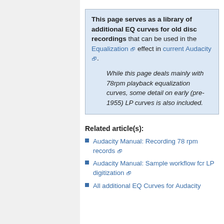This page serves as a library of additional EQ curves for old disc recordings that can be used in the Equalization effect in current Audacity. While this page deals mainly with 78rpm playback equalization curves, some detail on early (pre-1955) LP curves is also included.
Related article(s):
Audacity Manual: Recording 78 rpm records
Audacity Manual: Sample workflow for LP digitization
All additional EQ Curves for Audacity